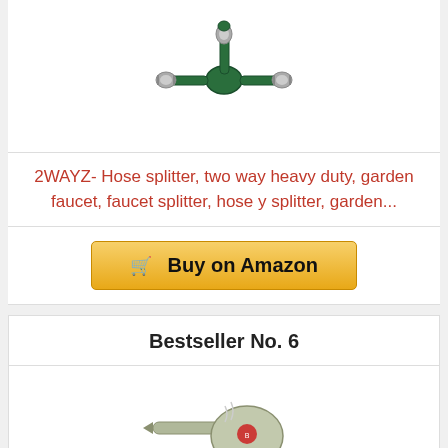[Figure (photo): Green two-way hose splitter product image]
2WAYZ- Hose splitter, two way heavy duty, garden faucet, faucet splitter, hose y splitter, garden...
Buy on Amazon
Bestseller No. 6
[Figure (photo): BISSELL SteamShot Deluxe handheld steam cleaner product image]
BISSELL SteamShot Deluxe Hard Surface Steam Cleaner with Natural Sanitization, Multi-Surface Tools...